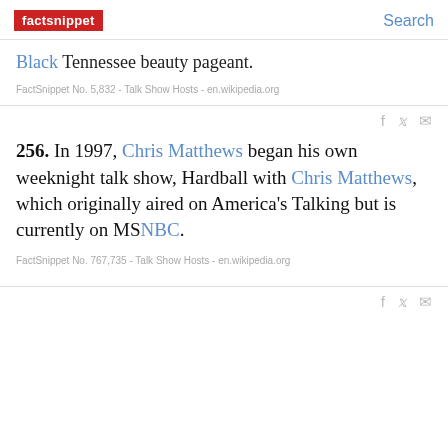factsnippet   Search
Black Tennessee beauty pageant.
FactSnippet No. 5,832 - Talk Show Hosts - en.wikipedia.org
256. In 1997, Chris Matthews began his own weeknight talk show, Hardball with Chris Matthews, which originally aired on America's Talking but is currently on MSNBC.
FactSnippet No. 767,735 - Talk Show Hosts - en.wikipedia.org